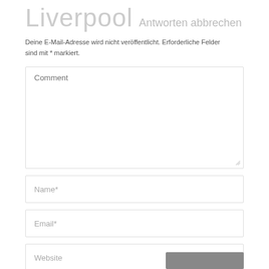Liverpool Antworten abbrechen
Deine E-Mail-Adresse wird nicht veröffentlicht. Erforderliche Felder sind mit * markiert.
Comment
Name*
Email*
Website